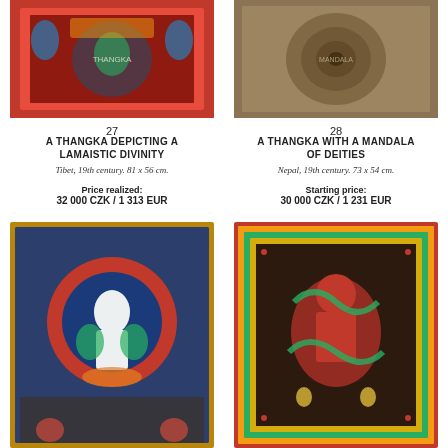[Figure (photo): Thangka depicting a Lamaistic divinity, colorful Buddhist painting with red background and figures]
27
A THANGKA DEPICTING A LAMAISTIC DIVINITY
Tibet, 19th century. 81 x 56 cm.
Price realized: 32 000 CZK / 1 313 EUR
[Figure (photo): Thangka with a Mandala of Deities, brown-toned painting with mandala pattern]
28
A THANGKA WITH A MANDALA OF DEITIES
Nepal, 19th century. 73 x 54 cm.
Starting price: 30 000 CZK / 1 231 EUR
[Figure (photo): Thangka depicting a bodhisattva seated in meditation with red halo, blue background]
[Figure (photo): Thangka with red wrathful deity on ornate border background]